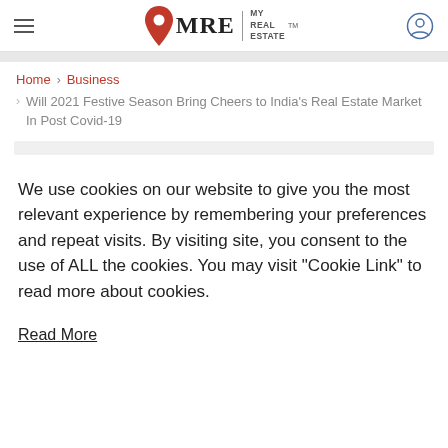MRE | MY REAL ESTATE
Home > Business
> Will 2021 Festive Season Bring Cheers to India's Real Estate Market In Post Covid-19
We use cookies on our website to give you the most relevant experience by remembering your preferences and repeat visits. By visiting site, you consent to the use of ALL the cookies. You may visit "Cookie Link" to read more about cookies.
Read More